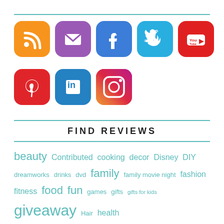[Figure (illustration): Row of social media icons: RSS (orange), Email (purple), Facebook (blue), Twitter (cyan), YouTube (red)]
[Figure (illustration): Row of social media icons: Pinterest (red), LinkedIn (blue), Instagram (gradient purple-orange)]
FIND REVIEWS
beauty Contributed cooking decor Disney DIY dreamworks drinks dvd family family movie night fashion fitness food fun games gifts gifts for kids giveaway Hair health holiday gift guide holiday gift guide 2014 Holiday Gift Guide 2016 home kids